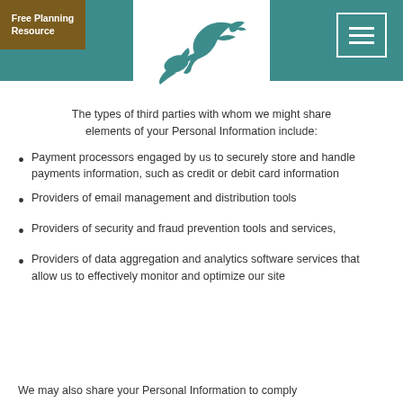Free Planning Resource
[Figure (logo): Teal dove/bird logo on white background centered in header]
The types of third parties with whom we might share elements of your Personal Information include:
Payment processors engaged by us to securely store and handle payments information, such as credit or debit card information
Providers of email management and distribution tools
Providers of security and fraud prevention tools and services,
Providers of data aggregation and analytics software services that allow us to effectively monitor and optimize our site
We may also share your Personal Information to comply